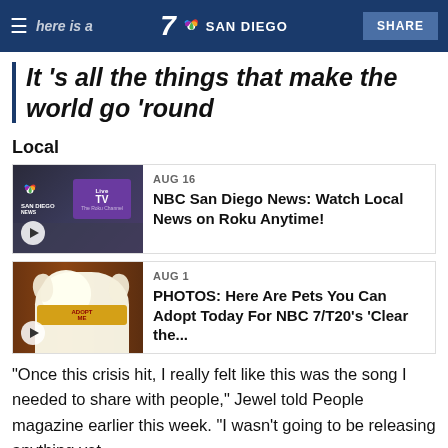7 SAN DIEGO | SHARE
It 's all the things that make the world go 'round
Local
[Figure (screenshot): Thumbnail image showing NBC San Diego News studio with a TV displaying 'Live TV' in purple]
AUG 16
NBC San Diego News: Watch Local News on Roku Anytime!
[Figure (photo): Thumbnail image showing a white dog wearing a yellow 'Adopt Me' bandana against a wooden background]
AUG 1
PHOTOS: Here Are Pets You Can Adopt Today For NBC 7/T20's 'Clear the...
"Once this crisis hit, I really felt like this was the song I needed to share with people," Jewel told People magazine earlier this week. "I wasn't going to be releasing anything yet.